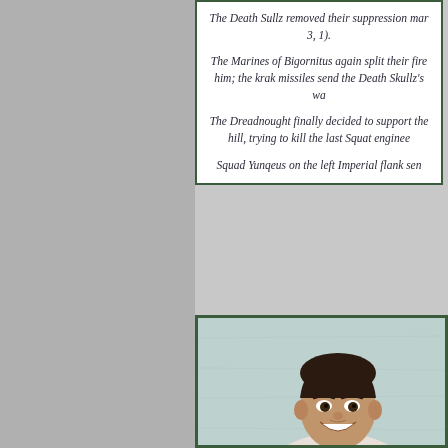The Death Sullz removed their suppression mar... 3, 1). The Marines of Bigornitus again split their fire... him; the krak missiles send the Death Skullz's wa... The Dreadnought finally decided to support the... hill, trying to kill the last Squat enginee... Squad Yunqeus on the left Imperial flank sen...
[Figure (photo): Photo of a man with dark hair, smiling, against a light textured wall background]